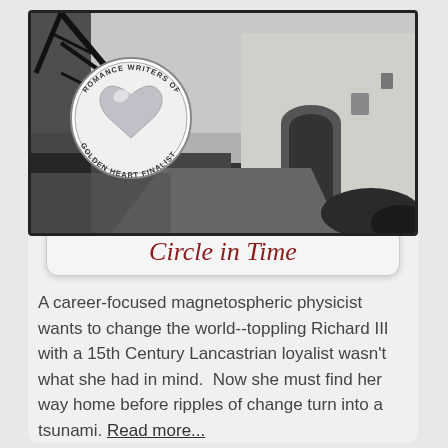[Figure (photo): Black and white photograph of a castle or fortress exterior with bare winter trees on the left and a stone archway gate visible. A circular medallion/badge overlay in the upper left reads 'Romance Writers of America Golden Heart Finalist' with a silver heart logo.]
Circle in Time
A career-focused magnetospheric physicist wants to change the world--toppling Richard III with a 15th Century Lancastrian loyalist wasn't what she had in mind.  Now she must find her way home before ripples of change turn into a tsunami. Read more...